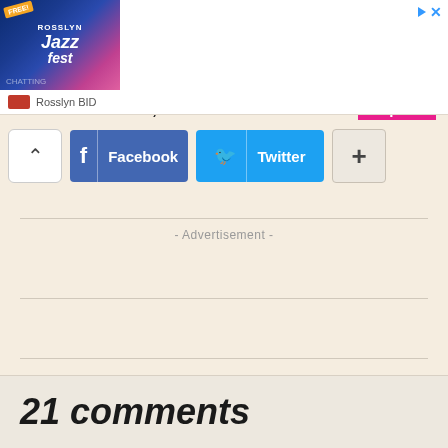[Figure (screenshot): Advertisement banner for Rosslyn Jazz Fest on Sat 9/30 with Open button]
Rosslyn BID
[Figure (screenshot): Social share buttons: Facebook, Twitter, and plus button with chevron up]
- Advertisement -
21 comments